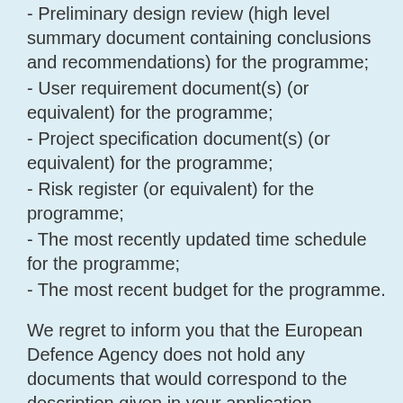- Preliminary design review (high level summary document containing conclusions and recommendations) for the programme;
- User requirement document(s) (or equivalent) for the programme;
- Project specification document(s) (or equivalent) for the programme;
- Risk register (or equivalent) for the programme;
- The most recently updated time schedule for the programme;
- The most recent budget for the programme.
We regret to inform you that the European Defence Agency does not hold any documents that would correspond to the description given in your application.
Please note that the European Defence Agency contributed to the preparation of the European MALE RPAS Programme and is providing support to OCCAR on specific topics to facilitate the development of this